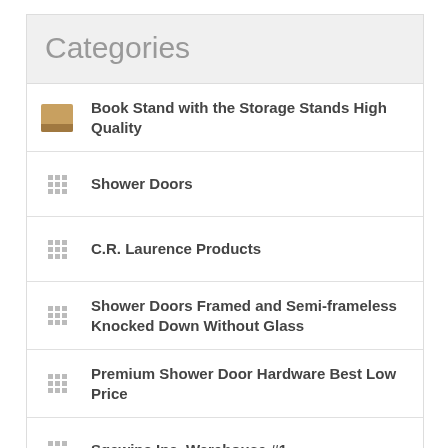Categories
Book Stand with the Storage Stands High Quality
Shower Doors
C.R. Laurence Products
Shower Doors Framed and Semi-frameless Knocked Down Without Glass
Premium Shower Door Hardware Best Low Price
Sgawinc Inc. Warehouse #1
Sgawinc Inc. Warehouse #2
Ultra Line
Over Stock Items